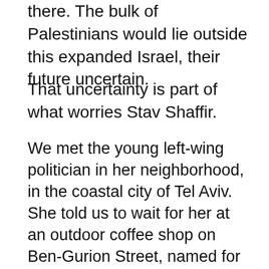there. The bulk of Palestinians would lie outside this expanded Israel, their future uncertain.
That uncertainty is part of what worries Stav Shaffir.
We met the young left-wing politician in her neighborhood, in the coastal city of Tel Aviv. She told us to wait for her at an outdoor coffee shop on Ben-Gurion Street, named for David Ben-Gurion, the man who led Israel in its first years following independence in 1948. The street was lined with palm trees, and led toward glassy towers in the distance
With her curly red hair, she was easy to spot as she pushed her bike up a path toward the café.